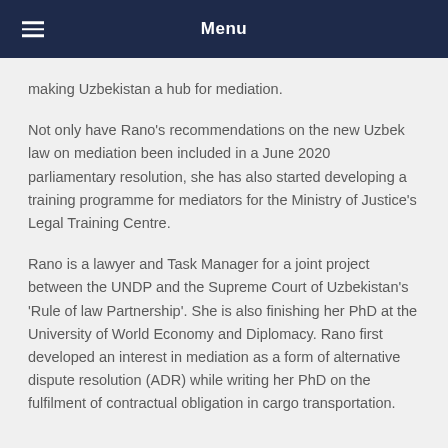Menu
making Uzbekistan a hub for mediation.
Not only have Rano’s recommendations on the new Uzbek law on mediation been included in a June 2020 parliamentary resolution, she has also started developing a training programme for mediators for the Ministry of Justice’s Legal Training Centre.
Rano is a lawyer and Task Manager for a joint project between the UNDP and the Supreme Court of Uzbekistan’s ‘Rule of law Partnership’. She is also finishing her PhD at the University of World Economy and Diplomacy. Rano first developed an interest in mediation as a form of alternative dispute resolution (ADR) while writing her PhD on the fulfilment of contractual obligation in cargo transportation.